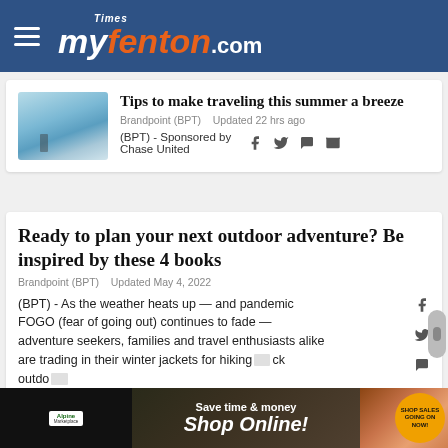Times myfenton.com
Tips to make traveling this summer a breeze
Brandpoint (BPT)   Updated 22 hrs ago
(BPT) - Sponsored by Chase United
Ready to plan your next outdoor adventure? Be inspired by these 4 books
Brandpoint (BPT)   Updated May 4, 2022
(BPT) - As the weather heats up — and pandemic FOGO (fear of going out) continues to fade — adventure seekers, families and travel enthusiasts alike are trading in their winter jackets for hiking... outdoor...
[Figure (advertisement): Alpine Marketplace ad: Save time & money, Shop Online!, Shop Sales Going On Now!]